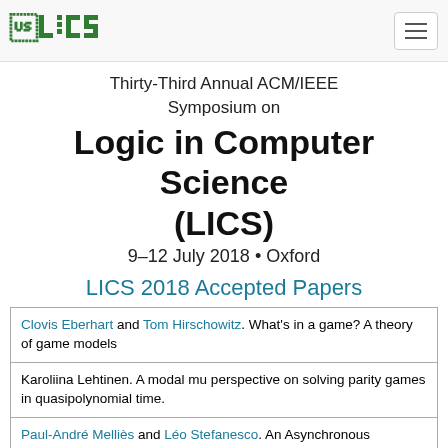LICS logo and navigation bar
Thirty-Third Annual ACM/IEEE Symposium on Logic in Computer Science (LICS)
9–12 July 2018 • Oxford
LICS 2018 Accepted Papers
| Clovis Eberhart and Tom Hirschowitz. What's in a game? A theory of game models |
| Karoliina Lehtinen. A modal mu perspective on solving parity games in quasipolynomial time. |
| Paul-André Melliès and Léo Stefanesco. An Asynchronous Soundness Theorem for Concurrent |